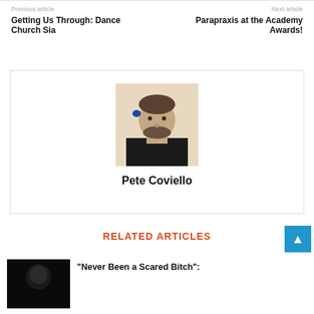Previous article
Getting Us Through: Dance Church Sia
Next article
Parapraxis at the Academy Awards!
[Figure (photo): Headshot photograph of Pete Coviello, a man with a beard wearing a black shirt, against a light tan background]
Pete Coviello
RELATED ARTICLES
[Figure (photo): Dark thumbnail image for a related article]
“Never Been a Scared Bitch”: